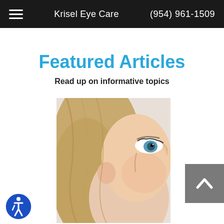Krisel Eye Care   (954) 961-1509
Featured Articles
Read up on informative topics
[Figure (photo): Close-up photo of a middle-aged woman with blonde hair and blue eyes, side-profile view showing eye and cheek area]
[Figure (other): Back to top button — grey square with white upward chevron arrow]
[Figure (other): Accessibility icon — blue circle with wheelchair user symbol]